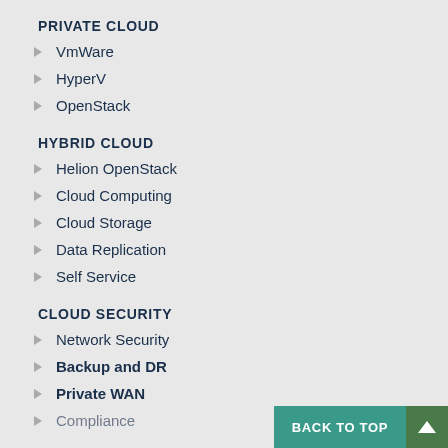PRIVATE CLOUD
VmWare
HyperV
OpenStack
HYBRID CLOUD
Helion OpenStack
Cloud Computing
Cloud Storage
Data Replication
Self Service
CLOUD SECURITY
Network Security
Backup and DR
Private WAN
Compliance
BACK TO TOP